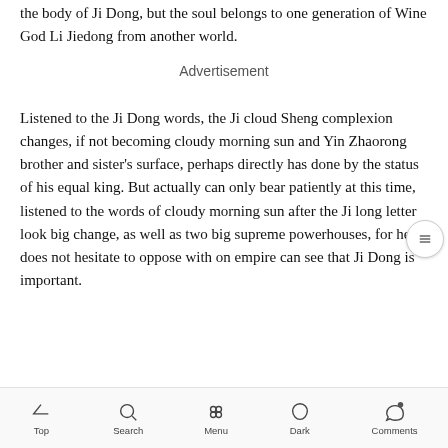the body of Ji Dong, but the soul belongs to one generation of Wine God Li Jiedong from another world.
Advertisement
Listened to the Ji Dong words, the Ji cloud Sheng complexion changes, if not becoming cloudy morning sun and Yin Zhaorong brother and sister's surface, perhaps directly has done by the status of his equal king. But actually can only bear patiently at this time, listened to the words of cloudy morning sun after the Ji long letter look big change, as well as two big supreme powerhouses, for he does not hesitate to oppose with on empire can see that Ji Dong is important.
Top Search Menu Dark Comments